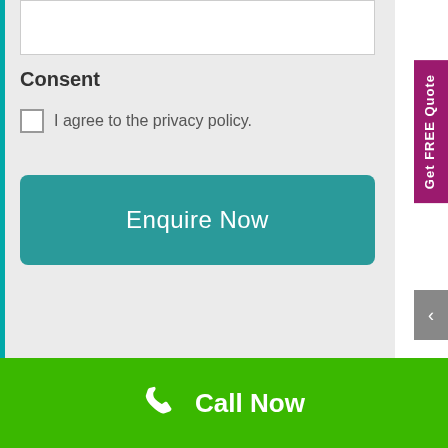Consent
I agree to the privacy policy.
Enquire Now
Get FREE Quote
Call Now